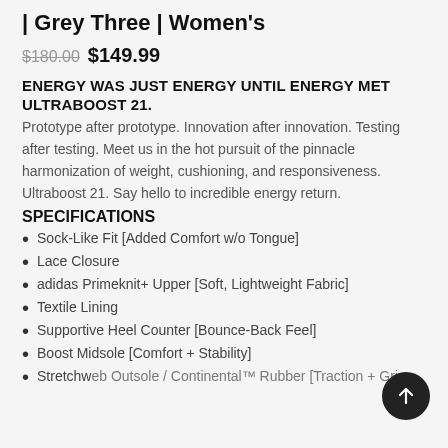| Grey Three | Women's
$180.00  $149.99
ENERGY WAS JUST ENERGY UNTIL ENERGY MET ULTRABOOST 21.
Prototype after prototype. Innovation after innovation. Testing after testing. Meet us in the hot pursuit of the pinnacle harmonization of weight, cushioning, and responsiveness. Ultraboost 21. Say hello to incredible energy return.
SPECIFICATIONS
Sock-Like Fit [Added Comfort w/o Tongue]
Lace Closure
adidas Primeknit+ Upper [Soft, Lightweight Fabric]
Textile Lining
Supportive Heel Counter [Bounce-Back Feel]
Boost Midsole [Comfort + Stability]
Stretchweb Outsole / Continental™ Rubber [Traction + Grip]